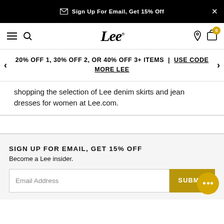Sign Up For Email, Get 15% Off
[Figure (screenshot): Lee brand navigation bar with hamburger menu, search icon, Lee logo, location pin, shopping bag with 0 badge]
20% OFF 1, 30% OFF 2, OR 40% OFF 3+ ITEMS | USE CODE MORELEE
shopping the selection of Lee denim skirts and jean dresses for women at Lee.com.
SIGN UP FOR EMAIL, GET 15% OFF
Become a Lee insider.
Email Address